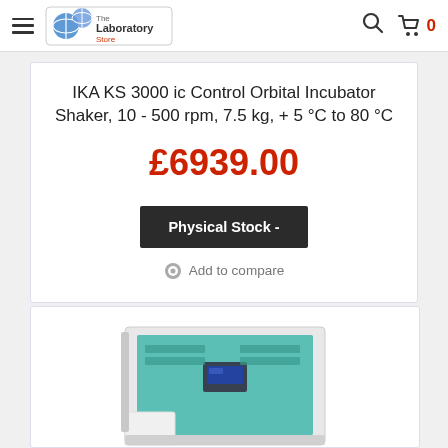The Laboratory Store — navigation bar with hamburger menu, logo, search icon, and cart (0)
IKA KS 3000 ic Control Orbital Incubator Shaker, 10 - 500 rpm, 7.5 kg, + 5 °C to 80 °C
£6939.00
Physical Stock -
Add to compare
[Figure (photo): IKA KS 3000 ic Control Orbital Incubator Shaker — teal/white large laboratory incubator shaker with open door showing interior, front panel with digital displays]